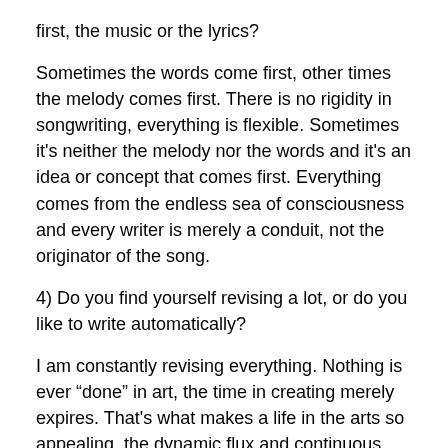first, the music or the lyrics?
Sometimes the words come first, other times the melody comes first. There is no rigidity in songwriting, everything is flexible. Sometimes it’s neither the melody nor the words and it’s an idea or concept that comes first. Everything comes from the endless sea of consciousness and every writer is merely a conduit, not the originator of the song.
4) Do you find yourself revising a lot, or do you like to write automatically?
I am constantly revising everything. Nothing is ever “done” in art, the time in creating merely expires. That's what makes a life in the arts so appealing, the dynamic flux and continuous tweaking of everything.
5) How do you feed your imagination?